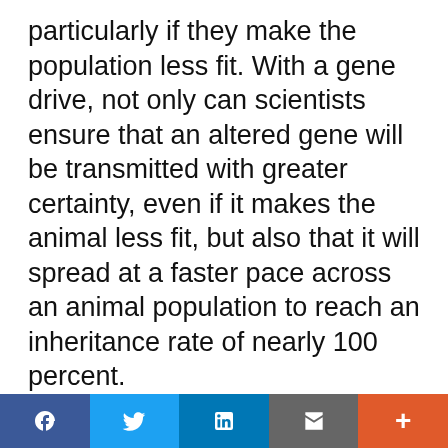particularly if they make the population less fit. With a gene drive, not only can scientists ensure that an altered gene will be transmitted with greater certainty, even if it makes the animal less fit, but also that it will spread at a faster pace across an animal population to reach an inheritance rate of nearly 100 percent.
We use cookies to improve user experience and analyze website traffic. By clicking “Accept,” you agree to our website’s cookie use as described in our Cookie Policy. You can change your cookie settings at any time by clicking “Preferences.”
Decline
Accept
Preferences
f  [Twitter bird]  in  [Email]  +